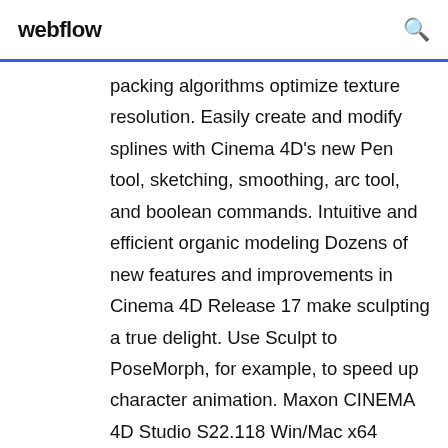webflow
packing algorithms optimize texture resolution. Easily create and modify splines with Cinema 4D's new Pen tool, sketching, smoothing, arc tool, and boolean commands. Intuitive and efficient organic modeling Dozens of new features and improvements in Cinema 4D Release 17 make sculpting a true delight. Use Sculpt to PoseMorph, for example, to speed up character animation. Maxon CINEMA 4D Studio S22.118 Win/Mac x64 August 9, 2020 August 9, 2020 VIP Easy to learn and extremely powerful: Cinema 4D is the perfect package for all 3D artists who want to achieve breathtaking results fast and hassle-free. V-Ray for Cinema 4D is a professional rendering system